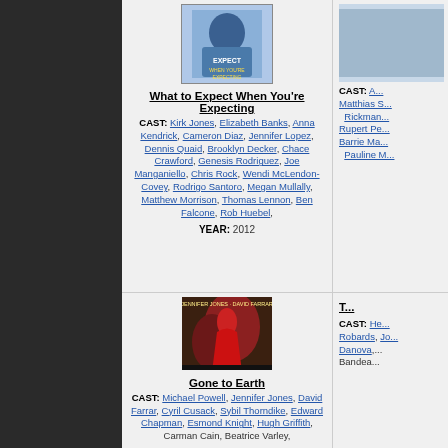[Figure (photo): Movie poster for 'What to Expect When You're Expecting' showing a pregnant woman]
What to Expect When You're Expecting
CAST: Kirk Jones, Elizabeth Banks, Anna Kendrick, Cameron Diaz, Jennifer Lopez, Dennis Quaid, Brooklyn Decker, Chace Crawford, Genesis Rodriguez, Joe Manganiello, Chris Rock, Wendi McLendon-Covey, Rodrigo Santoro, Megan Mullally, Matthew Morrison, Thomas Lennon, Ben Falcone, Rob Huebel,
YEAR: 2012
[Figure (photo): Partial movie poster on right side, cut off]
CAST: A... Matthias S... Rickman... Rupert Pe... Barrie Ma... Pauline M...
[Figure (photo): Movie poster for 'Gone to Earth' (La Renarde) showing a woman in red dress]
Gone to Earth
CAST: Michael Powell, Jennifer Jones, David Farrar, Cyril Cusack, Sybil Thorndike, Edward Chapman, Esmond Knight, Hugh Griffith, Carman Cain, Beatrice Varley,
[Figure (photo): Partial movie poster on right side, cut off]
CAST: He... Robards, Jo... Danova,... Bandea...
T...